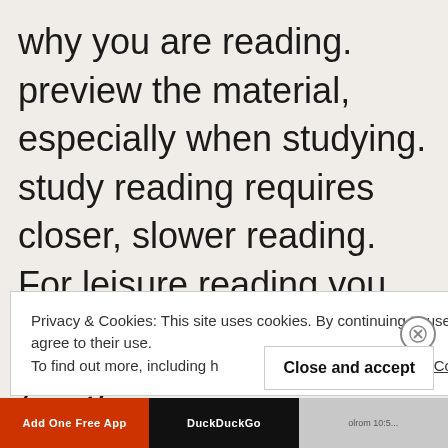why you are reading. preview the material, especially when studying. study reading requires closer, slower reading. For leisure reading you can go faster. Be sure you get the information in graphic aids and illustrations.
Privacy & Cookies: This site uses cookies. By continuing to use this website, you agree to their use.
To find out more, including how to control cookies, see here: Cookie Po[licy]
Close and accept